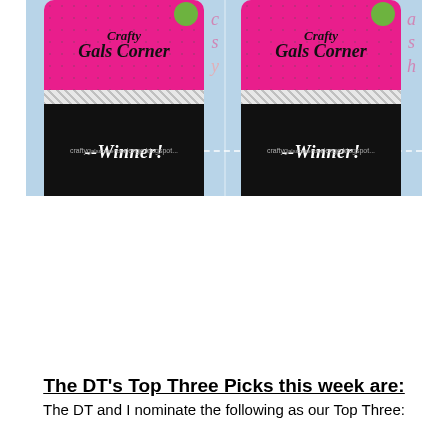[Figure (illustration): Two identical 'Crafty Gals Corner Winner!' badge graphics side by side on a light blue background. Each badge has a pink top with 'Gals Corner' text, a silver glitter strip, a black lower section with '--Winner!' text in white italic, a downward-pointing black arrow at the bottom, and a blog URL. Decorative handwritten letters in pink appear on the blue background to the right.]
The DT's Top Three Picks this week are:
The DT and I nominate the following as our Top Three: